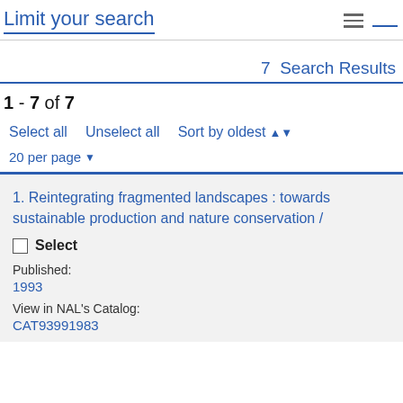Limit your search
7  Search Results
1 - 7 of 7
Select all
Unselect all
Sort by oldest
20 per page
1. Reintegrating fragmented landscapes : towards sustainable production and nature conservation /
Select
Published:
1993
View in NAL's Catalog:
CAT93991983